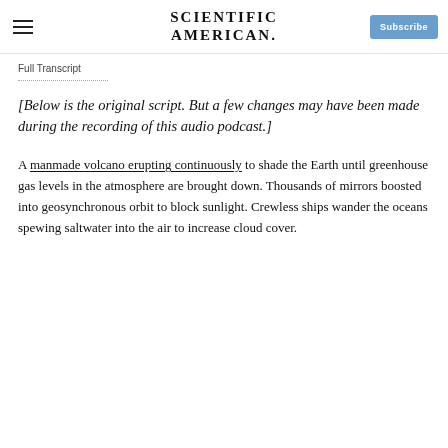SCIENTIFIC AMERICAN.
Full Transcript
[Below is the original script. But a few changes may have been made during the recording of this audio podcast.]
A manmade volcano erupting continuously to shade the Earth until greenhouse gas levels in the atmosphere are brought down. Thousands of mirrors boosted into geosynchronous orbit to block sunlight. Crewless ships wander the oceans spewing saltwater into the air to increase cloud cover.